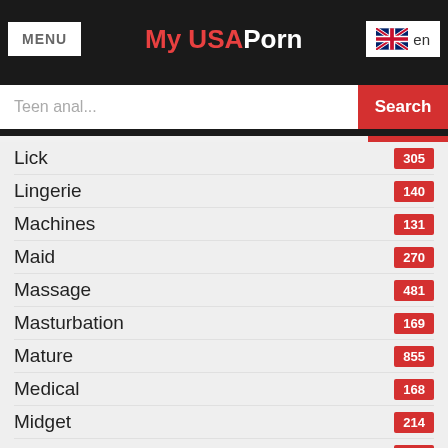MENU | My USAPorn | en
Teen anal... Search
Lick 305
Lingerie 140
Machines 131
Maid 270
Massage 481
Masturbation 169
Mature 855
Medical 168
Midget 214
Milf 286